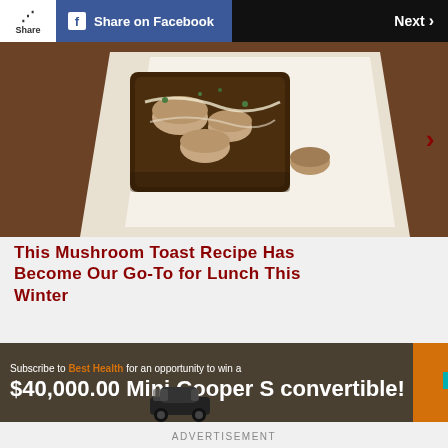Share | Share on Facebook | Next
[Figure (photo): Mushroom toast on a white plate with garnishes, food photography on wooden surface]
This Mushroom Toast Recipe Has Become Our Go-To for Lunch This Winter
[Figure (infographic): Advertisement banner: Subscribe to Best Health for an opportunity to win a $40,000.00 Mini Cooper S convertible! SAVE. Shows Best Health logo and a Mini Cooper car image.]
ADVERTISEMENT